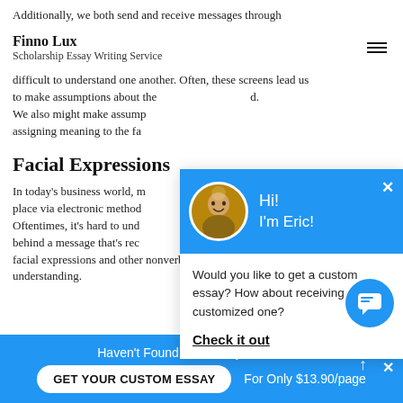Additionally, we both send and receive messages through
Finno Lux
Scholarship Essay Writing Service
difficult to understand one another. Often, these screens lead us to make assumptions about the… We also might make assumptions… assigning meaning to the fa…
Facial Expressions
In today's business world, m… place via electronic method… Oftentimes, it's hard to und… behind a message that's rec… facial expressions and other nonverbal cues boost our understanding.
[Figure (screenshot): Chat popup with blue header showing avatar of Eric, text 'Hi! I'm Eric!', close button (X), and body text: 'Would you like to get a custom essay? How about receiving a customized one?' with 'Check it out' link]
Haven't Found The Essay You Want?
GET YOUR CUSTOM ESSAY    For Only $13.90/page